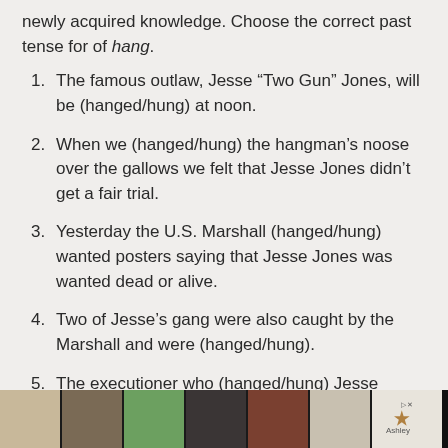newly acquired knowledge. Choose the correct past tense for of hang.
The famous outlaw, Jesse “Two Gun” Jones, will be (hanged/hung) at noon.
When we (hanged/hung) the hangman’s noose over the gallows we felt that Jesse Jones didn’t get a fair trial.
Yesterday the U.S. Marshall (hanged/hung) wanted posters saying that Jesse Jones was wanted dead or alive.
Two of Jesse’s gang were also caught by the Marshall and were (hanged/hung).
The executioner who (hanged/hung) Jesse
[Figure (other): Advertisement banner at bottom of page showing furniture images and Ashley Furniture logo]